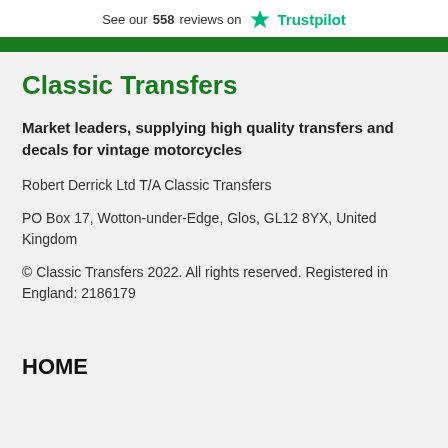See our 558 reviews on Trustpilot
Classic Transfers
Market leaders, supplying high quality transfers and decals for vintage motorcycles
Robert Derrick Ltd T/A Classic Transfers
PO Box 17, Wotton-under-Edge, Glos, GL12 8YX, United Kingdom
© Classic Transfers 2022. All rights reserved. Registered in England: 2186179
HOME